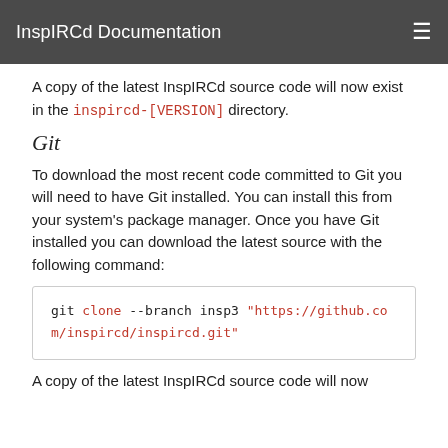InspIRCd Documentation
A copy of the latest InspIRCd source code will now exist in the inspircd-[VERSION] directory.
Git
To download the most recent code committed to Git you will need to have Git installed. You can install this from your system's package manager. Once you have Git installed you can download the latest source with the following command:
git clone --branch insp3 "https://github.com/inspircd/inspircd.git"
A copy of the latest InspIRCd source code will now